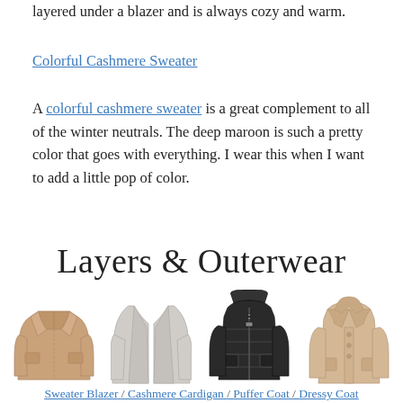layered under a blazer and is always cozy and warm.
Colorful Cashmere Sweater
A colorful cashmere sweater is a great complement to all of the winter neutrals. The deep maroon is such a pretty color that goes with everything. I wear this when I want to add a little pop of color.
Layers & Outerwear
[Figure (photo): Four outerwear/layering items: a camel sweater blazer, a grey cashmere cardigan, a black puffer coat, and a camel dressy coat, displayed side by side.]
Sweater Blazer / Cashmere Cardigan / Puffer Coat / Dressy Coat